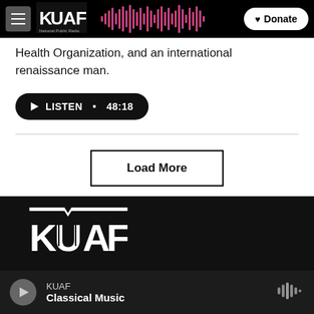KUAF National Public Radio - Donate
Health Organization, and an international renaissance man.
LISTEN • 48:18
Load More
[Figure (logo): KUAF logo large white on dark background in footer]
KUAF Classical Music